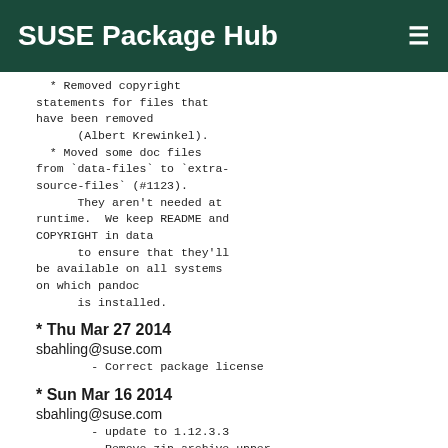SUSE Package Hub
* Removed copyright statements for files that have been removed
      (Albert Krewinkel).
  * Moved some doc files from `data-files` to `extra-source-files` (#1123).
      They aren't needed at runtime.  We keep README and COPYRIGHT in data
      to ensure that they'll be available on all systems on which pandoc
      is installed.
* Thu Mar 27 2014
sbahling@suse.com
- Correct package license
* Sun Mar 16 2014
sbahling@suse.com
- update to 1.12.3.3
- Remove zip-archive-upper-bound.patch (fix integrated)
  Pandoc Changes:
  1.12.3.3
  =========
  * To changes to source; recompiled tarball with latest alex and
      happy, so they will work with GHC 7.8.